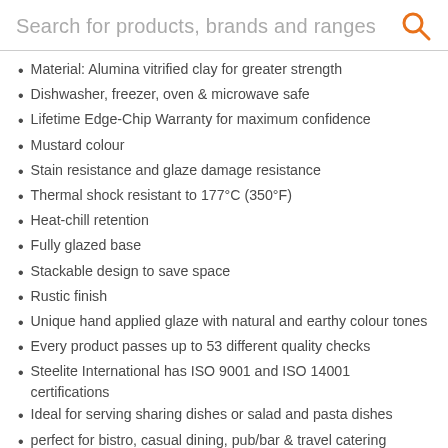Search for products, brands and ranges
Material: Alumina vitrified clay for greater strength
Dishwasher, freezer, oven & microwave safe
Lifetime Edge-Chip Warranty for maximum confidence
Mustard colour
Stain resistance and glaze damage resistance
Thermal shock resistant to 177°C (350°F)
Heat-chill retention
Fully glazed base
Stackable design to save space
Rustic finish
Unique hand applied glaze with natural and earthy colour tones
Every product passes up to 53 different quality checks
Steelite International has ISO 9001 and ISO 14001 certifications
Ideal for serving sharing dishes or salad and pasta dishes
perfect for bistro, casual dining, pub/bar & travel catering
Made in England
Suitable for commercial use